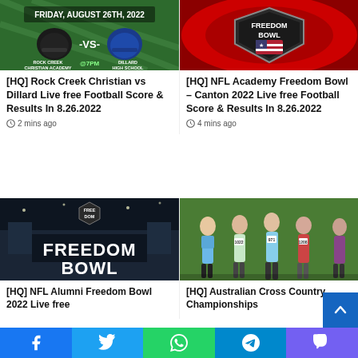[Figure (photo): Football game promotional image: Friday August 26th 2022, Rock Creek Christian Academy vs Dillard High School at 7PM, green field background with helmets]
[HQ] Rock Creek Christian vs Dillard Live free Football Score & Results In 8.26.2022
2 mins ago
[Figure (photo): Freedom Bowl shield logo on red stadium background]
[HQ] NFL Academy Freedom Bowl – Canton 2022 Live free Football Score & Results In 8.26.2022
4 mins ago
[Figure (photo): Freedom Bowl promotional image with stadium at night and large text FREEDOM BOWL]
[HQ] NFL Alumni Freedom Bowl 2022 Live free
[Figure (photo): Australian female runners in a cross country championship race]
[HQ] Australian Cross Country Championships
Facebook  Twitter  WhatsApp  Telegram  Viber